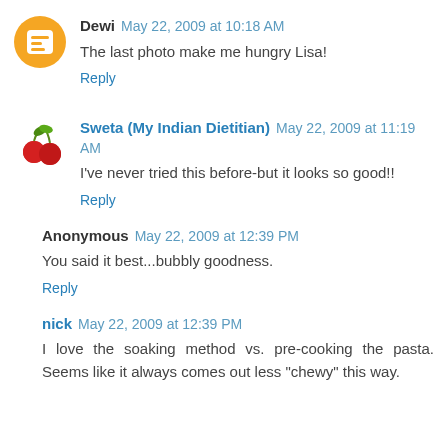Dewi May 22, 2009 at 10:18 AM
The last photo make me hungry Lisa!
Reply
Sweta (My Indian Dietitian) May 22, 2009 at 11:19 AM
I've never tried this before-but it looks so good!!
Reply
Anonymous May 22, 2009 at 12:39 PM
You said it best...bubbly goodness.
Reply
nick May 22, 2009 at 12:39 PM
I love the soaking method vs. pre-cooking the pasta. Seems like it always comes out less "chewy" this way.